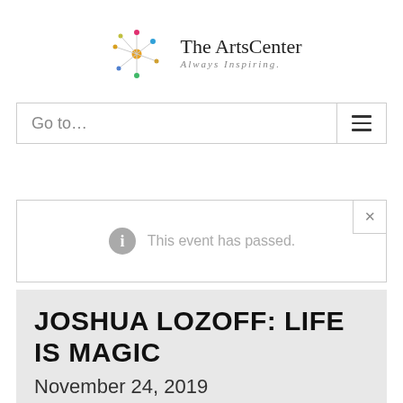[Figure (logo): The ArtsCenter logo with starburst/constellation graphic and text 'The ArtsCenter Always Inspiring.']
Go to...
This event has passed.
JOSHUA LOZOFF: LIFE IS MAGIC
November 24, 2019